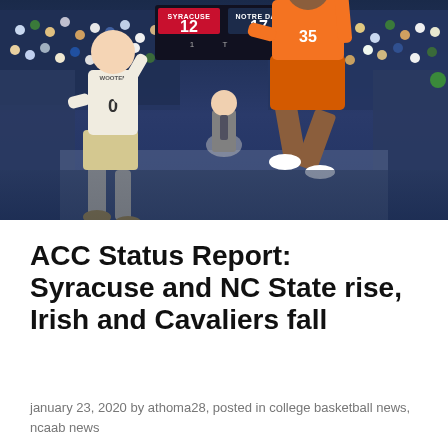[Figure (photo): Basketball game between Syracuse (orange uniforms, #35 jumping) and Notre Dame (white/gold uniforms, #0 defending). Scoreboard visible showing SYRACUSE 12, NOTRE DAME 17. Arena crowd in background.]
ACC Status Report: Syracuse and NC State rise, Irish and Cavaliers fall
january 23, 2020 by athoma28, posted in college basketball news, ncaab news